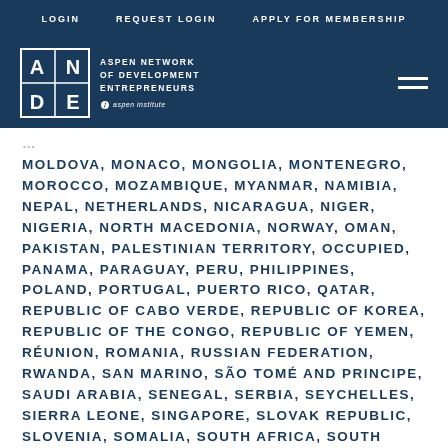LOGIN  REQUEST LOGIN  APPLY FOR MEMBERSHIP
[Figure (logo): ANDE - Aspen Network of Development Entrepreneurs logo with Aspen Institute branding]
MOLDOVA, MONACO, MONGOLIA, MONTENEGRO, MOROCCO, MOZAMBIQUE, MYANMAR, NAMIBIA, NEPAL, NETHERLANDS, NICARAGUA, NIGER, NIGERIA, NORTH MACEDONIA, NORWAY, OMAN, PAKISTAN, PALESTINIAN TERRITORY, OCCUPIED, PANAMA, PARAGUAY, PERU, PHILIPPINES, POLAND, PORTUGAL, PUERTO RICO, QATAR, REPUBLIC OF CABO VERDE, REPUBLIC OF KOREA, REPUBLIC OF THE CONGO, REPUBLIC OF YEMEN, RÉUNION, ROMANIA, RUSSIAN FEDERATION, RWANDA, SAN MARINO, SÃO TOMÉ AND PRINCIPE, SAUDI ARABIA, SENEGAL, SERBIA, SEYCHELLES, SIERRA LEONE, SINGAPORE, SLOVAK REPUBLIC, SLOVENIA, SOMALIA, SOUTH AFRICA, SOUTH SUDAN, SPAIN, SRI LANKA, ST. MARTIN (FRENCH PART), SURINAME, SWAZILAND, SWEDEN, SWITZERLAND, SYRIAN ARAB REPUBLIC, TAIWAN, CHINA, TAJIKISTAN, TANZANIA, THAILAND, THE BAHAMAS, TIMOR-LESTE, TOGO, TRINIDAD AND TOBAGO, TUNISIA, TURKEY, TURKMENISTAN, TURKS AND CAICOS ISLANDS, UGANDA, UKRAINE, UNITED ARAB EMIRATES, UNITED KINGDOM